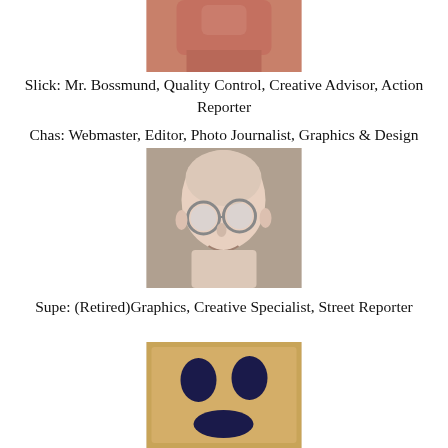[Figure (photo): Partial photo of a person (cropped, showing lower face/neck area) at the top of the page]
Slick: Mr. Bossmund,  Quality Control,  Creative Advisor,   Action Reporter
Chas: Webmaster,  Editor, Photo Journalist, Graphics & Design
[Figure (photo): Photo of a bald man wearing large round wire-rimmed glasses, smiling slightly]
Supe: (Retired)Graphics,  Creative Specialist, Street Reporter
[Figure (photo): Photo of a brown paper bag with hand-drawn face (two oval eyes and a wide oval mouth) drawn in dark blue/black]